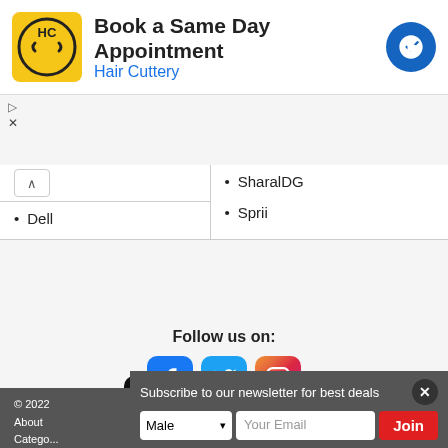[Figure (advertisement): Hair Cuttery ad banner: Book a Same Day Appointment with yellow HC logo and blue navigation icon]
SharalDG
Dell
Sprii
Follow us on:
[Figure (infographic): Social media icons: Facebook, Twitter, Instagram]
[Figure (infographic): Google Play store download button]
[Figure (infographic): Apple App Store download button]
© 2022  About  Catego...
Subscribe to our newsletter for best deals
Male  Your Email  Join